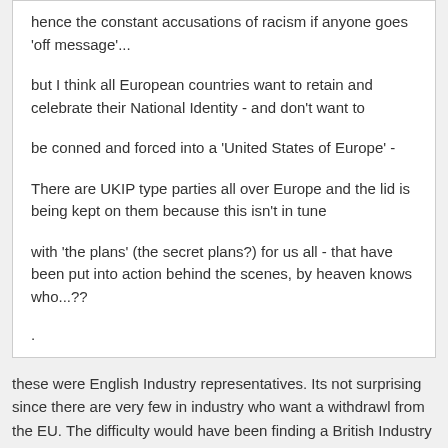hence the constant accusations of racism if anyone goes 'off message'...
but I think all European countries want to retain and celebrate their National Identity - and don't want to
be conned and forced into a 'United States of Europe' -
There are UKIP type parties all over Europe and the lid is being kept on them because this isn't in tune
with 'the plans' (the secret plans?) for us all - that have been put into action behind the scenes, by heaven knows who...??
.
these were English Industry representatives. Its not surprising since there are very few in industry who want a withdrawl from the EU. The difficulty would have been finding a British Industry spokesperson (one who actually is involved in manufacturing) to speak against the EU.
Br Cornelius